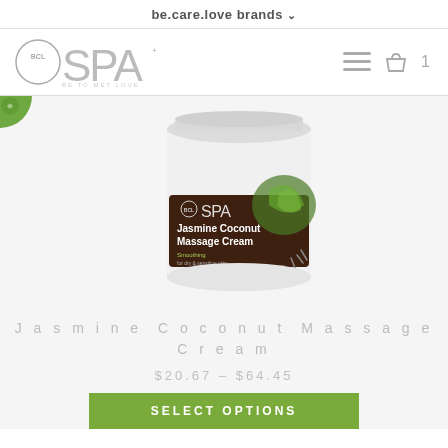be.care.love brands
[Figure (logo): BCL SPA logo — circle with BCL inside, large SPA text, tagline 'BE TO MET LOVE']
[Figure (photo): Large white jar of BCL SPA Jasmine Coconut Massage Cream with brown label showing SPA logo, product name, and decorative leaves]
Jasmine Coconut Massage Cream
$20.67 – $64.45
SELECT OPTIONS